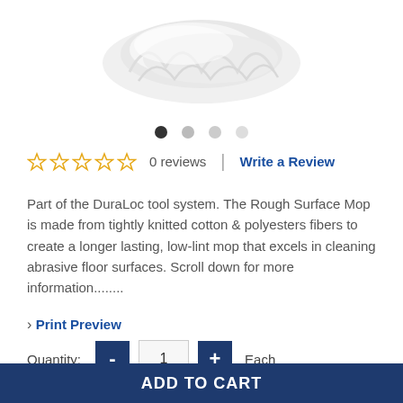[Figure (photo): White mop head product image on white background]
[Figure (other): Carousel navigation dots: 4 dots with first active (dark), rest light gray]
0 reviews | Write a Review (with 5 empty star rating icons in gold/yellow)
Part of the DuraLoc tool system. The Rough Surface Mop is made from tightly knitted cotton & polyesters fibers to create a longer lasting, low-lint mop that excels in cleaning abrasive floor surfaces. Scroll down for more information........
› Print Preview
Quantity: - 1 + Each
Price AUD $ 37.35 price per Each incl. GST
ADD TO CART